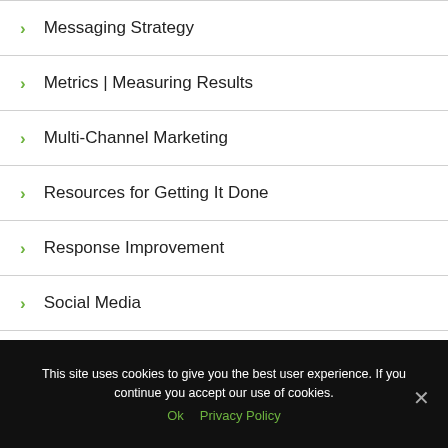Messaging Strategy
Metrics | Measuring Results
Multi-Channel Marketing
Resources for Getting It Done
Response Improvement
Social Media
Strategy
Targeting & Segmentation
This site uses cookies to give you the best user experience. If you continue you accept our use of cookies.
Ok   Privacy Policy